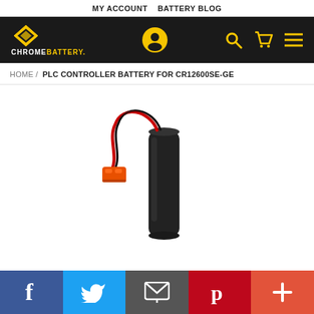MY ACCOUNT   BATTERY BLOG
[Figure (logo): Chrome Battery logo with gold diamond shape and white/gold text CHROMEBATTERY. on dark background, with user icon, search icon, cart icon, and menu icon in gold on the right.]
HOME / PLC CONTROLLER BATTERY FOR CR12600SE-GE
[Figure (photo): Photo of a cylindrical black PLC controller battery with orange connector plug and red/black twisted wire.]
[Figure (infographic): Social sharing bar with Facebook, Twitter, Email, Pinterest, and plus buttons.]